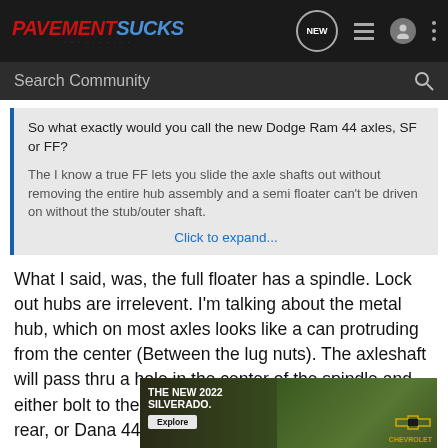PavementSucks — navigation bar with NEW, list, person, and more icons
Search Community
So what exactly would you call the new Dodge Ram 44 axles, SF or FF?
The I know a true FF lets you slide the axle shafts out without removing the entire hub assembly and a semi floater can't be driven on without the stub/outer shaft.
Click to expand...
What I said, was, the full floater has a spindle. Lock out hubs are irrelevent. I'm talking about the metal hub, which on most axles looks like a can protruding from the center (Between the lug nuts). The axleshaft will pass thru a hole in the center of the spindle and either bolt to the wheel assembly, like in a Dana 60 rear, or Dana 44 front
[Figure (screenshot): Advertisement banner for The New 2022 Silverado by Chevrolet with Explore button]